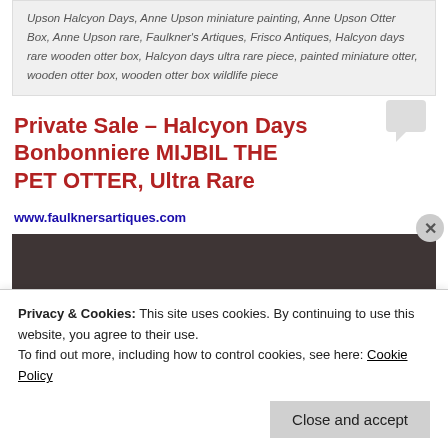Upson Halcyon Days, Anne Upson miniature painting, Anne Upson Otter Box, Anne Upson rare, Faulkner's Artiques, Frisco Antiques, Halcyon days rare wooden otter box, Halcyon days ultra rare piece, painted miniature otter, wooden otter box, wooden otter box wildlife piece
Private Sale – Halcyon Days Bonbonniere MIJBIL THE PET OTTER, Ultra Rare
www.faulknersartiques.com
[Figure (photo): Dark brown/maroon image strip, partially visible product photo]
Privacy & Cookies: This site uses cookies. By continuing to use this website, you agree to their use. To find out more, including how to control cookies, see here: Cookie Policy